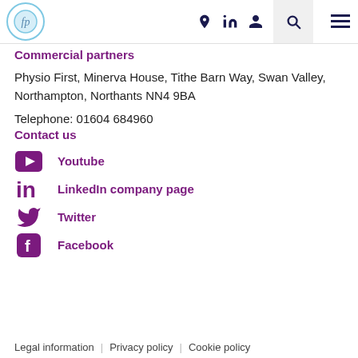[Figure (logo): Physio First circular logo with cursive letters in light blue circle]
Commercial partners
Physio First, Minerva House, Tithe Barn Way, Swan Valley, Northampton, Northants NN4 9BA
Telephone: 01604 684960
Contact us
Youtube
LinkedIn company page
Twitter
Facebook
Legal information | Privacy policy | Cookie policy